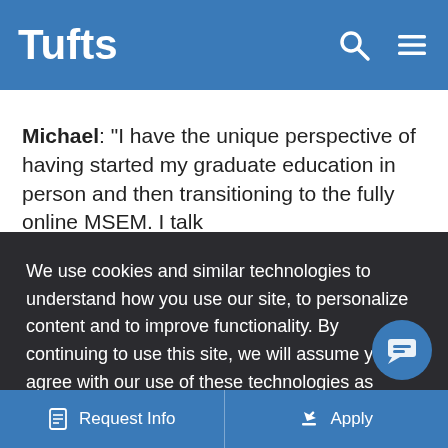Tufts
Michael: “I have the unique perspective of having started my graduate education in person and then transitioning to the fully online MSEM. I talk
We use cookies and similar technologies to understand how you use our site, to personalize content and to improve functionality. By continuing to use this site, we will assume you agree with our use of these technologies as described in the Privacy Statement.
Accept and Continue
Request Info | Apply